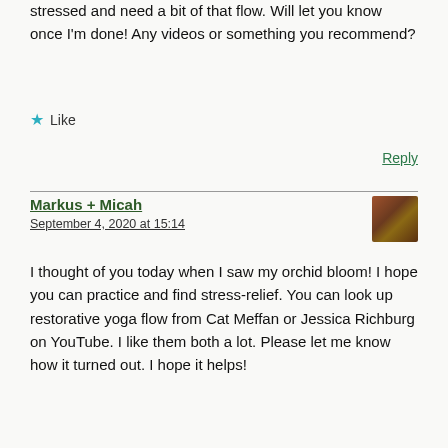stressed and need a bit of that flow. Will let you know once I'm done! Any videos or something you recommend?
★ Like
Reply
Markus + Micah
September 4, 2020 at 15:14
I thought of you today when I saw my orchid bloom! I hope you can practice and find stress-relief. You can look up restorative yoga flow from Cat Meffan or Jessica Richburg on YouTube. I like them both a lot. Please let me know how it turned out. I hope it helps!